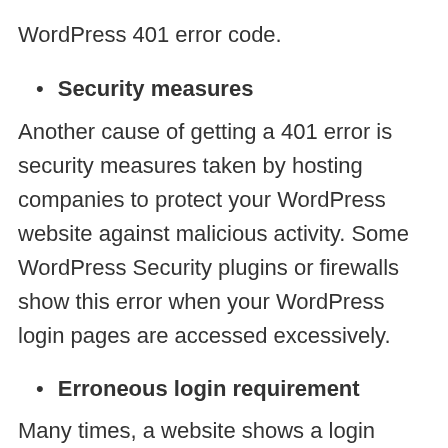WordPress 401 error code.
Security measures
Another cause of getting a 401 error is security measures taken by hosting companies to protect your WordPress website against malicious activity. Some WordPress Security plugins or firewalls show this error when your WordPress login pages are accessed excessively.
Erroneous login requirement
Many times, a website shows a login page.